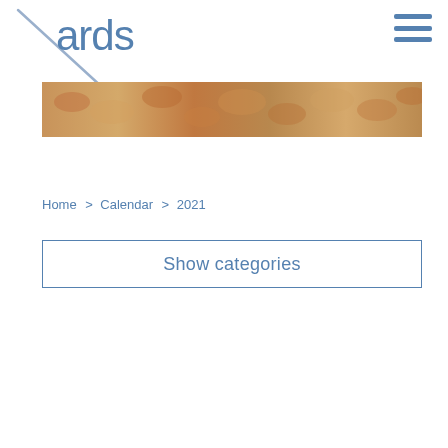[Figure (logo): ARDS logo with diagonal backslash line and blue 'ards' text]
[Figure (photo): Horizontal banner photo showing curly wool or wood shavings texture in warm brown tones]
Home  >  Calendar  >  2021
Show categories